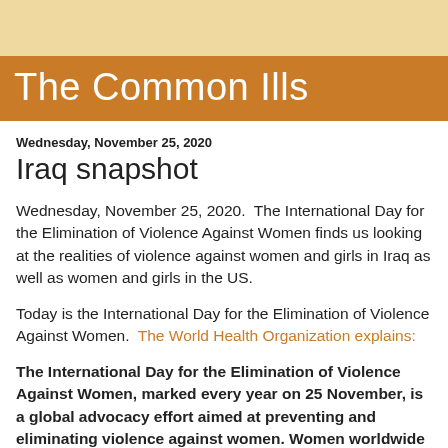The Common Ills
Wednesday, November 25, 2020
Iraq snapshot
Wednesday, November 25, 2020.  The International Day for the Elimination of Violence Against Women finds us looking at the realities of violence against women and girls in Iraq as well as women and girls in the US.
Today is the International Day for the Elimination of Violence Against Women.  The World Health Organization explains:
The International Day for the Elimination of Violence Against Women, marked every year on 25 November, is a global advocacy effort aimed at preventing and eliminating violence against women. Women worldwide